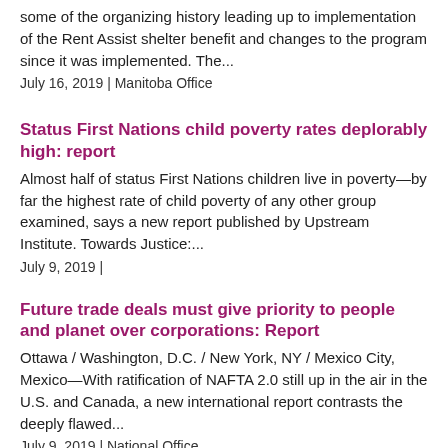some of the organizing history leading up to implementation of the Rent Assist shelter benefit and changes to the program since it was implemented. The...
July 16, 2019 | Manitoba Office
Status First Nations child poverty rates deplorably high: report
Almost half of status First Nations children live in poverty—by far the highest rate of child poverty of any other group examined, says a new report published by Upstream Institute. Towards Justice:...
July 9, 2019 |
Future trade deals must give priority to people and planet over corporations: Report
Ottawa / Washington, D.C. / New York, NY / Mexico City, Mexico—With ratification of NAFTA 2.0 still up in the air in the U.S. and Canada, a new international report contrasts the deeply flawed...
July 9, 2019 | National Office